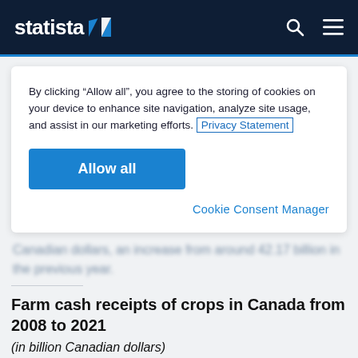statista
By clicking “Allow all”, you agree to the storing of cookies on your device to enhance site navigation, analyze site usage, and assist in our marketing efforts. Privacy Statement
Allow all
Cookie Consent Manager
Canadian dollars, an increase from around 42.17 billion in the previous year.
Farm cash receipts of crops in Canada from 2008 to 2021
(in billion Canadian dollars)